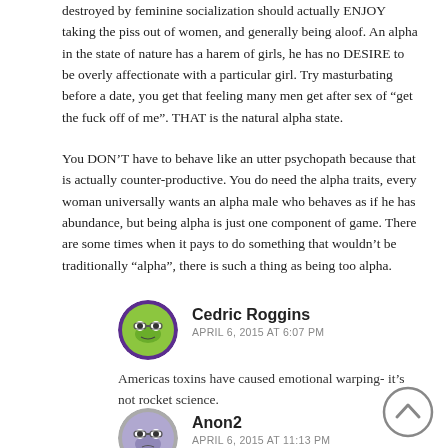destroyed by feminine socialization should actually ENJOY taking the piss out of women, and generally being aloof. An alpha in the state of nature has a harem of girls, he has no DESIRE to be overly affectionate with a particular girl. Try masturbating before a date, you get that feeling many men get after sex of "get the fuck off of me". THAT is the natural alpha state.
You DON'T have to behave like an utter psychopath because that is actually counter-productive. You do need the alpha traits, every woman universally wants an alpha male who behaves as if he has abundance, but being alpha is just one component of game. There are some times when it pays to do something that wouldn't be traditionally "alpha", there is such a thing as being too alpha.
Cedric Roggins
APRIL 6, 2015 AT 6:07 PM
Americas toxins have caused emotional warping- it's not rocket science.
Anon2
APRIL 6, 2015 AT 11:13 PM
Give this man an award! A+